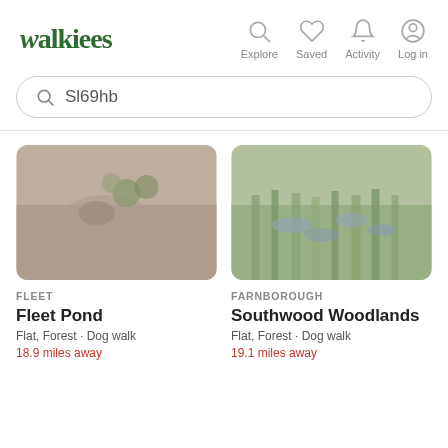Walkiees — Explore, Saved, Activity, Log in
Sl69hb
[Figure (photo): Photo of Fleet Pond – a frog or animal near water with green plants]
FLEET
Fleet Pond
Flat, Forest · Dog walk
18.9 miles away
[Figure (photo): Photo of Southwood Woodlands – bluebells and green grass in a woodland setting]
FARNBOROUGH
Southwood Woodlands
Flat, Forest · Dog walk
19.1 miles away